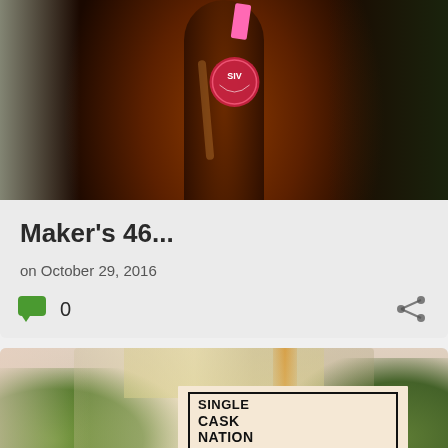[Figure (photo): Close-up photo of top of dark whisky bottle with pink hang tag and wax seal with logo]
Maker's 46...
on October 29, 2016
0 comments, share
[Figure (photo): Photo of Single Cask Nation Jewish Whisky Company bottle with label reading SINGLE CASK NATION, JEWISH WHISKY COMPANY, SINGLE MALT SCOTCH WHISKY, DISTILLED AT]